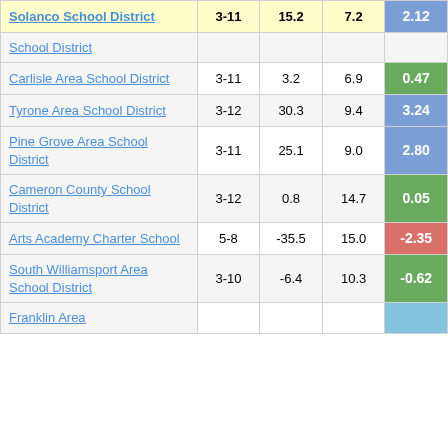| School District | Grades | Col3 | Col4 | Score |
| --- | --- | --- | --- | --- |
| Solanco School District | 3-11 | 15.2 | 7.2 | 2.12 |
| School District (partial) |  |  |  |  |
| Carlisle Area School District | 3-11 | 3.2 | 6.9 | 0.47 |
| Tyrone Area School District | 3-12 | 30.3 | 9.4 | 3.24 |
| Pine Grove Area School District | 3-11 | 25.1 | 9.0 | 2.80 |
| Cameron County School District | 3-12 | 0.8 | 14.7 | 0.05 |
| Arts Academy Charter School | 5-8 | -35.5 | 15.0 | -2.35 |
| South Williamsport Area School District | 3-10 | -6.4 | 10.3 | -0.62 |
| Franklin Area | 3-11 |  |  |  |